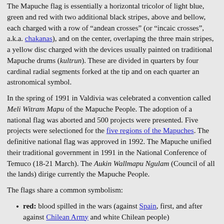The Mapuche flag is essentially a horizontal tricolor of light blue, green and red with two additional black stripes, above and bellow, each charged with a row of “andean crosses” (or “incaic crosses”, a.k.a. chakanas), and on the center, overlaping the three main stripes, a yellow disc charged with the devices usually painted on traditional Mapuche drums (kultrun). These are divided in quarters by four cardinal radial segments forked at the tip and on each quarter an astronomical symbol.
In the spring of 1991 in Valdivia was celebrated a convention called Meli Witram Mapu of the Mapuche People. The adoption of a national flag was aborted and 500 projects were presented. Five projects were selectioned for the five regions of the Mapuches. The definitive national flag was approved in 1992. The Mapuche unified their traditional government in 1991 in the National Conference of Temuco (18-21 March). The Aukin Wallmapu Ngulam (Council of all the lands) dirige currently the Mapuche People.
The flags share a common symbolism:
red: blood spilled in the wars (against Spain, first, and after against Chilean Army and white Chilean people)
green: Natura, earth
sky-blue (celeste): sky, hope
yellow: sun, light